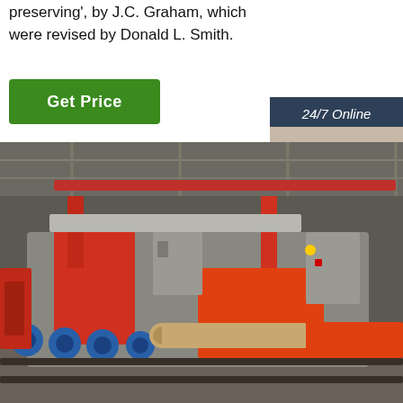preserving', by J.C. Graham, which were revised by Donald L. Smith.
[Figure (other): Green 'Get Price' button]
[Figure (other): Sidebar with '24/7 Online' label, photo of woman with headset, 'Click here for free chat!' text, and orange QUOTATION button]
[Figure (photo): Industrial machine (band saw or pipe cutting machine) on factory floor with red/orange metal components, blue rollers, and a pipe being processed]